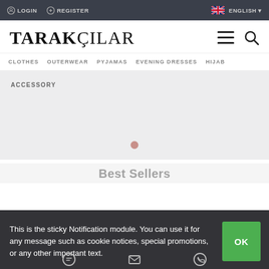LOGIN   REGISTER   ENGLISH
TARAKÇILAR
CLOTHES   OUTERWEAR   PYJAMAS   EVENING DRESSES   HIJAB
[Figure (screenshot): Hero banner area with ACCESSORY label and a pink navigation dot at the bottom center]
Best Sellers
This is the sticky Notification module. You can use it for any message such as cookie notices, special promotions, or any other important text.